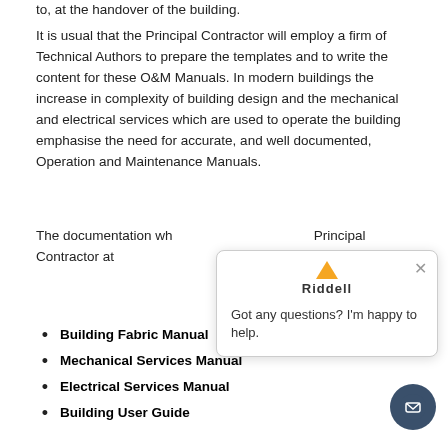to, at the handover of the building.
It is usual that the Principal Contractor will employ a firm of Technical Authors to prepare the templates and to write the content for these O&M Manuals. In modern buildings the increase in complexity of building design and the mechanical and electrical services which are used to operate the building emphasise the need for accurate, and well documented, Operation and Maintenance Manuals.
The documentation wh... Principal Contractor at... include:-
Building Fabric Manual
Mechanical Services Manual
Electrical Services Manual
Building User Guide